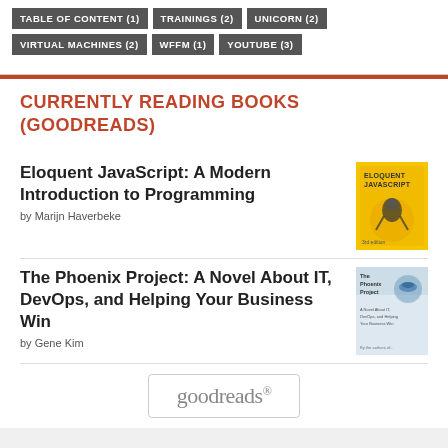TABLE OF CONTENT (1)
TRAININGS (2)
UNICORN (2)
VIRTUAL MACHINES (2)
WFFM (1)
YOUTUBE (3)
CURRENTLY READING BOOKS (GOODREADS)
Eloquent JavaScript: A Modern Introduction to Programming
by Marijn Haverbeke
[Figure (illustration): Book cover of Eloquent JavaScript, yellow background with decorative bird illustration]
The Phoenix Project: A Novel About IT, DevOps, and Helping Your Business Win
by Gene Kim
[Figure (illustration): Book cover of The Phoenix Project]
[Figure (logo): Goodreads logo in a rounded rectangle border]